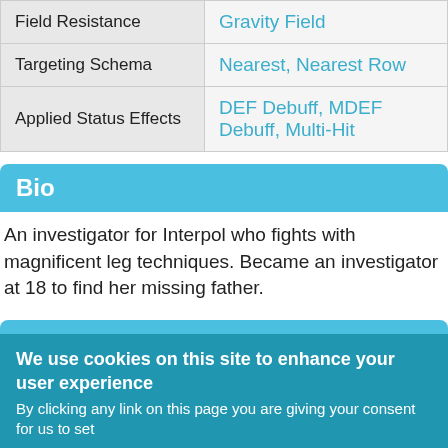|  |  |
| --- | --- |
| Field Resistance | Gravity Field |
| Targeting Schema | Nearest, Nearest Row |
| Applied Status Effects | DEF Debuff, MDEF Debuff, Multi-Hit |
Bio
An investigator for Interpol who fights with magnificent leg techniques. Became an investigator at 18 to find her missing father.
Stats
|  | Base | Max |
| --- | --- | --- |
| HP |  |  |
We use cookies on this site to enhance your user experience
By clicking any link on this page you are giving your consent for us to set